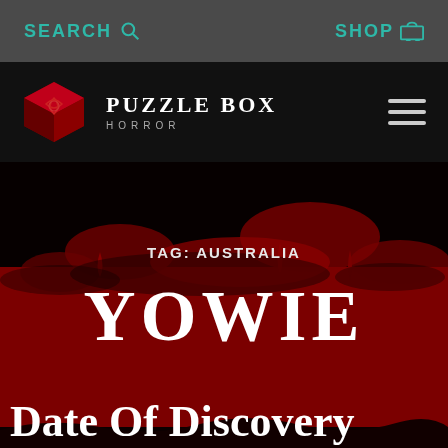SEARCH   SHOP
[Figure (logo): Puzzle Box Horror logo with red cube icon and text 'PUZZLE BOX HORROR']
[Figure (illustration): Dark horror website hero image with blood splatter in red and black, featuring tag label 'TAG: AUSTRALIA', large title 'YOWIE', and section heading 'Date of Discovery']
YOWIE
Date of Discovery